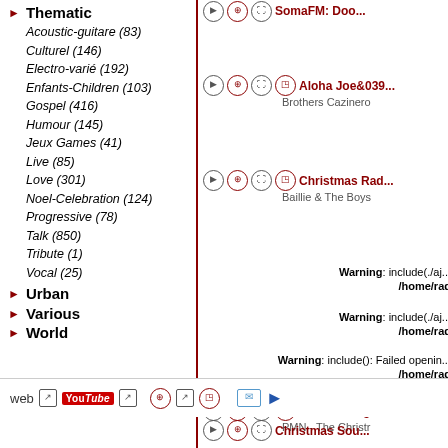► Thematic
Acoustic-guitare (83)
Culturel (146)
Electro-varié (192)
Enfants-Children (103)
Gospel (416)
Humour (145)
Jeux Games (41)
Live (85)
Love (301)
Noel-Celebration (124)
Progressive (78)
Talk (850)
Tribute (1)
Vocal (25)
► Urban
► Various
► World
SomaFM: Doo...
Aloha Joe&039; — Brothers Cazinero
Christmas Rad... — Baillie & The Boys
Warning: include(./aj... /home/rad
Warning: include(./aj... /home/rad
Warning: include(): Failed opening... /home/rad
DI Radio Digita... — PMN - The Christr
Christmas Sou...
Christmas Cla...
web [icon] YouTube [icon] [icons] [email] [arrow]